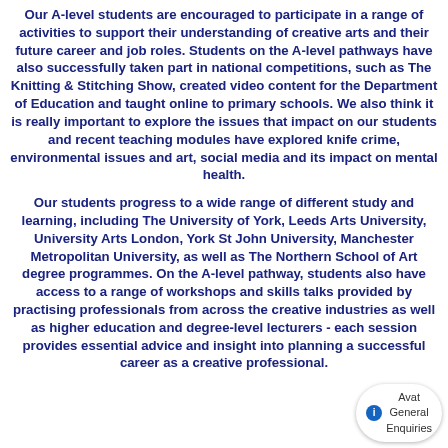Our A-level students are encouraged to participate in a range of activities to support their understanding of creative arts and their future career and job roles. Students on the A-level pathways have also successfully taken part in national competitions, such as The Knitting & Stitching Show, created video content for the Department of Education and taught online to primary schools. We also think it is really important to explore the issues that impact on our students and recent teaching modules have explored knife crime, environmental issues and art, social media and its impact on mental health.
Our students progress to a wide range of different study and learning, including The University of York, Leeds Arts University, University Arts London, York St John University, Manchester Metropolitan University, as well as The Northern School of Art degree programmes. On the A-level pathway, students also have access to a range of workshops and skills talks provided by practising professionals from across the creative industries as well as higher education and degree-level lecturers - each session provides essential advice and insight into planning a successful career as a creative professional.